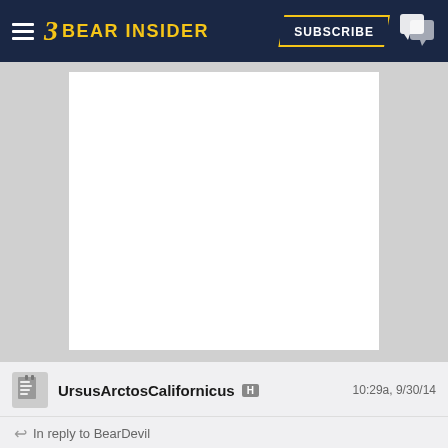Bear Insider — SUBSCRIBE
[Figure (other): Advertisement placeholder white box on grey background]
UrsusArctosCalifornicus H   10:29a, 9/30/14
↩ In reply to BearDevil
BearDevil;842369676 said:

While I still would like the tedbear dream team, kinda think Teri might be better served by one of (Weitzeil, Bilquist, and Siobhan) and a distance swimmer to complement Cierra. Another breaststroker would have been nice, but the only two who are upgrades over Marina/Maija are King and Scott. Baker's faster than all of them and will likely swim breast legs on the medley